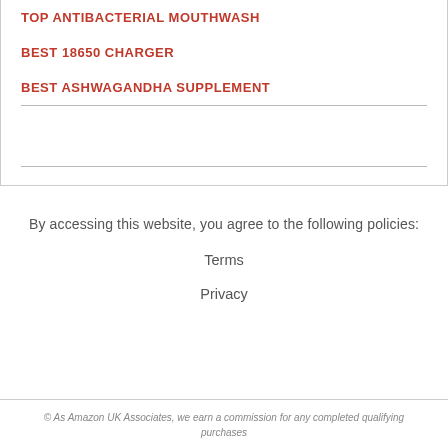TOP ANTIBACTERIAL MOUTHWASH
BEST 18650 CHARGER
BEST ASHWAGANDHA SUPPLEMENT
By accessing this website, you agree to the following policies:
Terms
Privacy
© As Amazon UK Associates, we earn a commission for any completed qualifying purchases